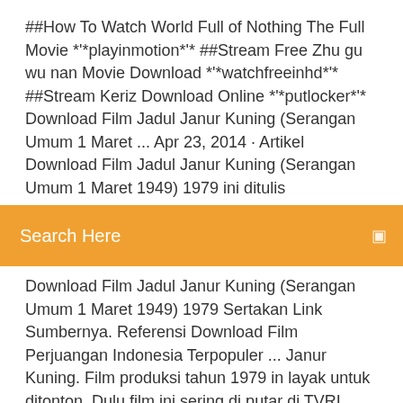##How To Watch World Full of Nothing The Full Movie *'*playinmotion*'* ##Stream Free Zhu gu wu nan Movie Download *'*watchfreeinhd*'* ##Stream Keriz Download Online *'*putlocker*'* Download Film Jadul Janur Kuning (Serangan Umum 1 Maret ... Apr 23, 2014 · Artikel Download Film Jadul Janur Kuning (Serangan Umum 1 Maret 1949) 1979 ini ditulis
Search Here
Download Film Jadul Janur Kuning (Serangan Umum 1 Maret 1949) 1979 Sertakan Link Sumbernya. Referensi Download Film Perjuangan Indonesia Terpopuler ... Janur Kuning. Film produksi tahun 1979 in layak untuk ditonton. Dulu film ini sering di putar di TVRI. Janur Kuning, merupakan film yang menceritakan tentang Kisah peperangan di Yogya yang juga di kenal dengan nama Serangan Umum 1 Maret, dimana terlibat banyak tokoh seperti Soeharto, Jenderal Sudirman dan tokoh-tokoh heroik lainnya seperti Komarudin yang di ...